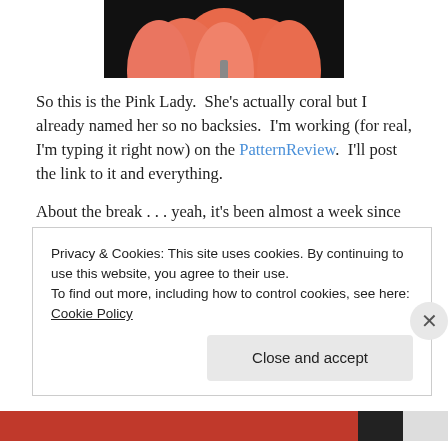[Figure (photo): Partial view of a coral/pink poppy flower against a black background, shown from the top portion only]
So this is the Pink Lady.  She's actually coral but I already named her so no backsies.  I'm working (for real, I'm typing it right now) on the PatternReview.  I'll post the link to it and everything.
About the break . . . yeah, it's been almost a week since my last post, and, yeah, that's not at all the one post a day for all of November like I said.
Privacy & Cookies: This site uses cookies. By continuing to use this website, you agree to their use.
To find out more, including how to control cookies, see here: Cookie Policy